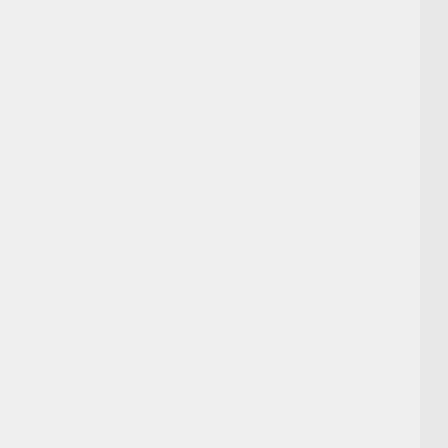excellent stuff. -- IronyChef (talk) 06:44, 5 December 2014 (UTC)
Its so refreshing to have this discussion with people who